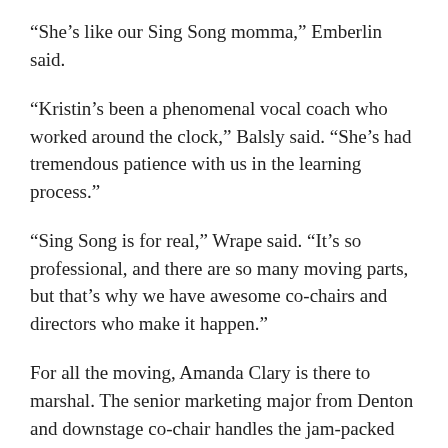“She’s like our Sing Song momma,” Emberlin said.
“Kristin’s been a phenomenal vocal coach who worked around the clock,” Balsly said. “She’s had tremendous patience with us in the learning process.”
“Sing Song is for real,” Wrape said. “It’s so professional, and there are so many moving parts, but that’s why we have awesome co-chairs and directors who make it happen.”
For all the moving, Amanda Clary is there to marshal. The senior marketing major from Denton and downstage co-chair handles the jam-packed agenda.